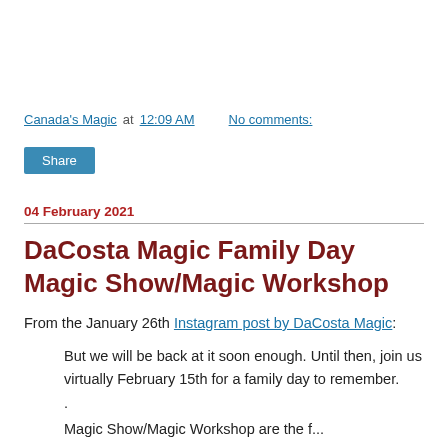Canada's Magic at 12:09 AM   No comments:
Share
04 February 2021
DaCosta Magic Family Day Magic Show/Magic Workshop
From the January 26th Instagram post by DaCosta Magic:
But we will be back at it soon enough. Until then, join us virtually February 15th for a family day to remember.
. Magic Show/Magic Workshop are the f...